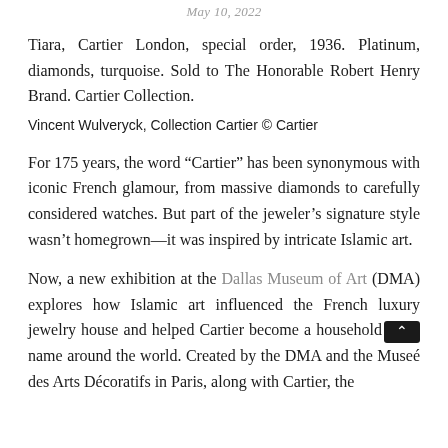May 10, 2022
Tiara, Cartier London, special order, 1936. Platinum, diamonds, turquoise. Sold to The Honorable Robert Henry Brand. Cartier Collection.
Vincent Wulveryck, Collection Cartier © Cartier
For 175 years, the word “Cartier” has been synonymous with iconic French glamour, from massive diamonds to carefully considered watches. But part of the jeweler’s signature style wasn’t homegrown—it was inspired by intricate Islamic art.
Now, a new exhibition at the Dallas Museum of Art (DMA) explores how Islamic art influenced the French luxury jewelry house and helped Cartier become a household name around the world. Created by the DMA and the Museé des Arts Décoratifs in Paris, along with Cartier, the